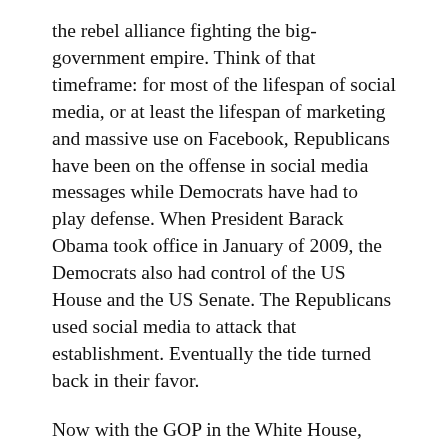the rebel alliance fighting the big-government empire. Think of that timeframe: for most of the lifespan of social media, or at least the lifespan of marketing and massive use on Facebook, Republicans have been on the offense in social media messages while Democrats have had to play defense. When President Barack Obama took office in January of 2009, the Democrats also had control of the US House and the US Senate. The Republicans used social media to attack that establishment. Eventually the tide turned back in their favor.
Now with the GOP in the White House, retaining the Senate, holding the House, and growing their lead across most state governments, it's the Democrats' turn to go on offense. This may lead to a great frenzy of counter-culture activity on social. We could be seeing the dawn of a new of 1960s style protest movement, although it's a sterilized digital version where you don't actually have to leave your phone to participate.